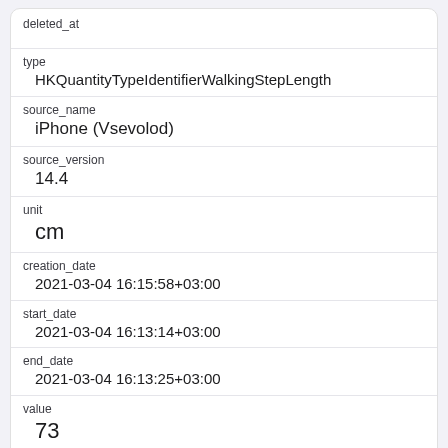deleted_at
type
HKQuantityTypeIdentifierWalkingStepLength
source_name
iPhone (Vsevolod)
source_version
14.4
unit
cm
creation_date
2021-03-04 16:15:58+03:00
start_date
2021-03-04 16:13:14+03:00
end_date
2021-03-04 16:13:25+03:00
value
73
device_id
iPhone 26